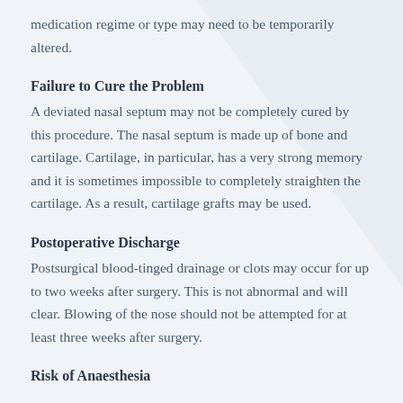medication regime or type may need to be temporarily altered.
Failure to Cure the Problem
A deviated nasal septum may not be completely cured by this procedure. The nasal septum is made up of bone and cartilage. Cartilage, in particular, has a very strong memory and it is sometimes impossible to completely straighten the cartilage. As a result, cartilage grafts may be used.
Postoperative Discharge
Postsurgical blood-tinged drainage or clots may occur for up to two weeks after surgery. This is not abnormal and will clear. Blowing of the nose should not be attempted for at least three weeks after surgery.
Risk of Anaesthesia